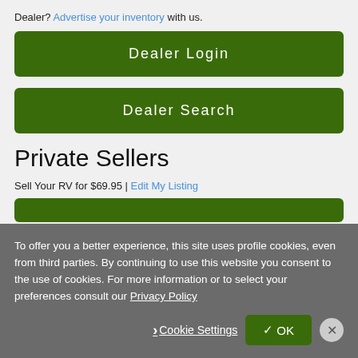Dealer? Advertise your inventory with us.
Dealer Login
Dealer Search
Private Sellers
Sell Your RV for $69.95 | Edit My Listing
To offer you a better experience, this site uses profile cookies, even from third parties. By continuing to use this website you consent to the use of cookies. For more information or to select your preferences consult our Privacy Policy
Cookie Settings
OK